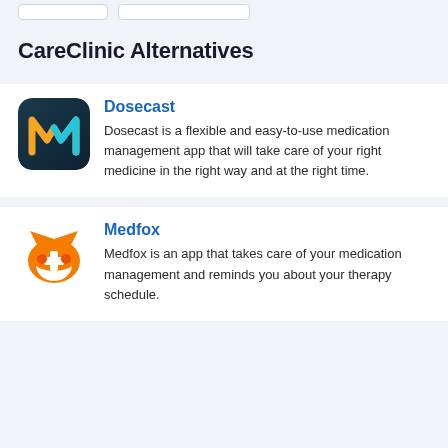CareClinic Alternatives
[Figure (logo): Dosecast app icon - teal/dark background with orange and teal M-like logo]
Dosecast
Dosecast is a flexible and easy-to-use medication management app that will take care of your right medicine in the right way and at the right time.
[Figure (logo): Medfox app icon - orange fox/mask face with white cross symbol]
Medfox
Medfox is an app that takes care of your medication management and reminds you about your therapy schedule.